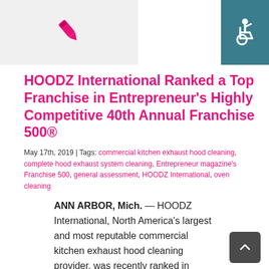[Figure (logo): Pink pen/quill icon on light gray background in top left header area]
[Figure (logo): White wheelchair accessibility icon on teal/dark cyan background in top right corner]
HOODZ International Ranked a Top Franchise in Entrepreneur's Highly Competitive 40th Annual Franchise 500®
May 17th, 2019 | Tags: commercial kitchen exhaust hood cleaning, complete hood exhaust system cleaning, Entrepreneur magazine's Franchise 500, general assessment, HOODZ International, oven cleaning
ANN ARBOR, Mich. — HOODZ International, North America's largest and most reputable commercial kitchen exhaust hood cleaning provider, was recently ranked in Entrepreneur magazine's Franchise 500®, the world's first, best and most